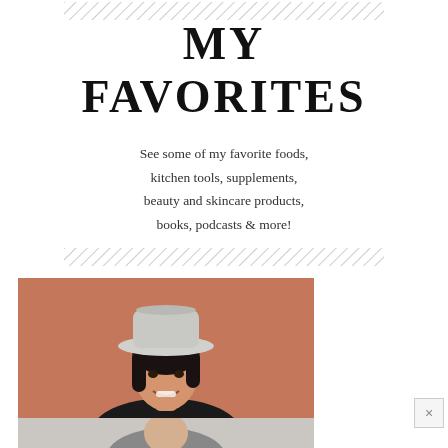[Figure (other): Diagonal hatching lines decorative element at top]
MY FAVORITES
See some of my favorite foods, kitchen tools, supplements, beauty and skincare products, books, podcasts & more!
[Figure (other): Diagonal hatching lines decorative element at bottom of text section]
[Figure (photo): Photo of a woman with dark hair wearing a light gray wide-brim hat, smiling, standing in front of a terracotta/salmon colored stucco wall]
[Figure (photo): Second photo partially visible at the bottom, showing the same or another person in a lighter background setting]